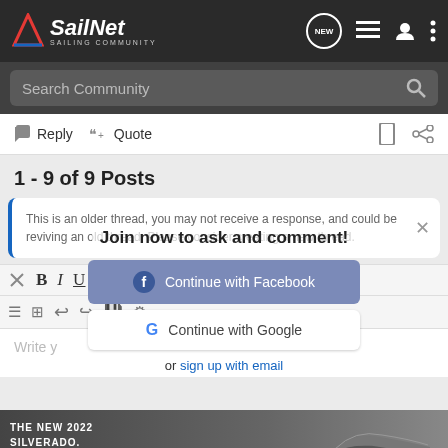SailNet SAILING COMMUNITY
Search Community
Reply  Quote
1 - 9 of 9 Posts
This is an older thread, you may not receive a response, and could be reviving an old thread. Please consider creating a new thread.
Join now to ask and comment!
Continue with Facebook
Continue with Google
or sign up with email
Write your reply...
[Figure (screenshot): Chevrolet Silverado 2022 advertisement banner at bottom of page]